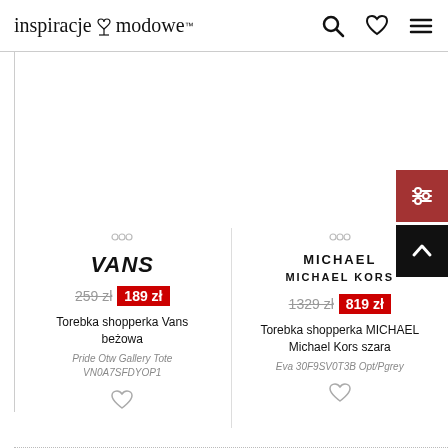inspiracje modowe
[Figure (screenshot): Product listing page with two shopper bags: Vans beige bag originally 259 zł now 189 zł, and Michael Kors grey bag originally 1329 zł now 819 zł]
Torebka shopperka Vans beżowa
Pride Otw Gallery Tote VN0A7SFDYOP1
259 zł  189 zł
Torebka shopperka MICHAEL Michael Kors szara
Eva 30F9SV0T3B Opt/Pgrey
1329 zł  819 zł